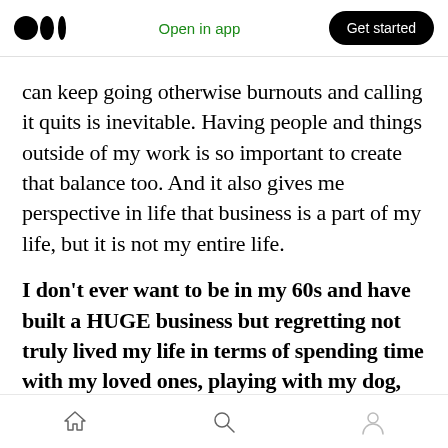Open in app | Get started
can keep going otherwise burnouts and calling it quits is inevitable. Having people and things outside of my work is so important to create that balance too. And it also gives me perspective in life that business is a part of my life, but it is not my entire life.
I don't ever want to be in my 60s and have built a HUGE business but regretting not truly lived my life in terms of spending time with my loved ones, playing with my dog, smelling the roses, cook for others, travel/see the world, and give back to those who are in
Home | Search | Profile